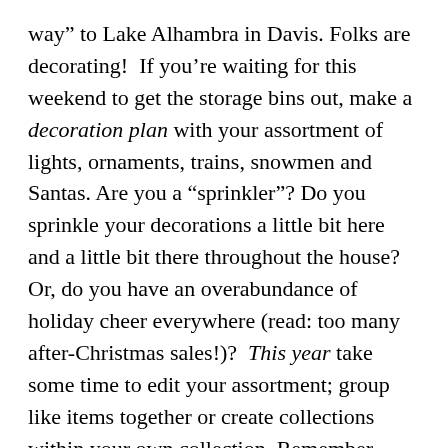way” to Lake Alhambra in Davis. Folks are decorating!  If you’re waiting for this weekend to get the storage bins out, make a decoration plan with your assortment of lights, ornaments, trains, snowmen and Santas. Are you a “sprinkler”? Do you sprinkle your decorations a little bit here and a little bit there throughout the house? Or, do you have an overabundance of holiday cheer everywhere (read: too many after-Christmas sales!)?  This year take some time to edit your assortment; group like items together or create collections within your own collection. Remember sometimes the simplest of arrangements are the most memorable. Yesterday we received our very first Christmas card in the mail! Yes, my on-the-ball, organized (RETIRED) family friends from the old neighborhood sent their cards out nice and early. Nothing wrong with that – someone has to be first!